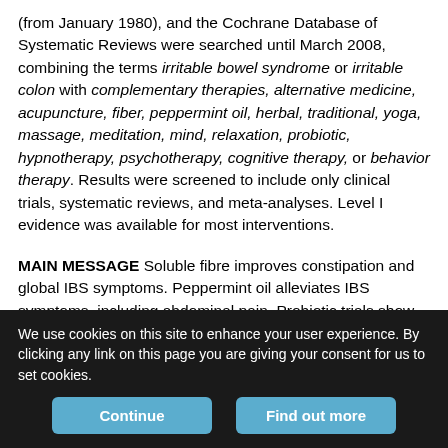(from January 1980), and the Cochrane Database of Systematic Reviews were searched until March 2008, combining the terms irritable bowel syndrome or irritable colon with complementary therapies, alternative medicine, acupuncture, fiber, peppermint oil, herbal, traditional, yoga, massage, meditation, mind, relaxation, probiotic, hypnotherapy, psychotherapy, cognitive therapy, or behavior therapy. Results were screened to include only clinical trials, systematic reviews, and meta-analyses. Level I evidence was available for most interventions.
MAIN MESSAGE Soluble fibre improves constipation and global IBS symptoms. Peppermint oil alleviates IBS symptoms, including abdominal pain. Probiotic trials show overall benefit for IBS but there
We use cookies on this site to enhance your user experience. By clicking any link on this page you are giving your consent for us to set cookies.